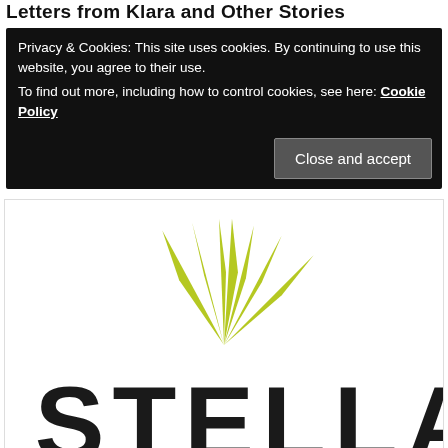Letters from Klara and Other Stories
Privacy & Cookies: This site uses cookies. By continuing to use this website, you agree to their use.
To find out more, including how to control cookies, see here: Cookie Policy
[Figure (logo): Stella Publishing logo — yellow/lime sunburst rays above bold dark block letters spelling STELLA]